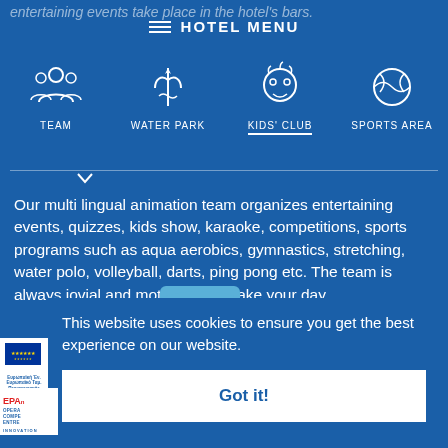entertaining events take place in the hotel's bars.
HOTEL MENU
[Figure (infographic): Navigation icons: TEAM (people icon), WATER PARK (waves/plant icon), KIDS' CLUB (child face icon, active/selected), SPORTS AREA (ball icon)]
Our multi lingual animation team organizes entertaining events, quizzes, kids show, karaoke, competitions, sports programs such as aqua aerobics, gymnastics, stretching, water polo, volleyball, darts, ping pong etc. The team is always jovial and motivated to make your day.
This website uses cookies to ensure you get the best experience on our website.
Got it!
[Figure (logo): EU logo with stars and text: Ευρωπαϊκή Ένωση, Ευρωπαϊκό Ταμείο, Περιφερειακής Ανάπτυξης]
[Figure (logo): EPAn logo with OPERATIONAL COMPETITIVENESS ENTREPRENEURSHIP text and INNOVATION tag]